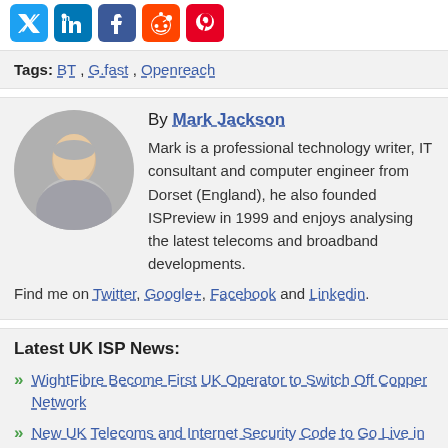[Figure (infographic): Social media sharing icons: Twitter (blue bird), LinkedIn (blue), Facebook (blue), Reddit (orange alien), Pinterest (red P)]
Tags: BT , G.fast , Openreach
By Mark Jackson
Mark is a professional technology writer, IT consultant and computer engineer from Dorset (England), he also founded ISPreview in 1999 and enjoys analysing the latest telecoms and broadband developments. Find me on Twitter, Google+, Facebook and Linkedin.
Latest UK ISP News:
WightFibre Become First UK Operator to Switch Off Copper Network
New UK Telecoms and Internet Security Code to Go Live in October